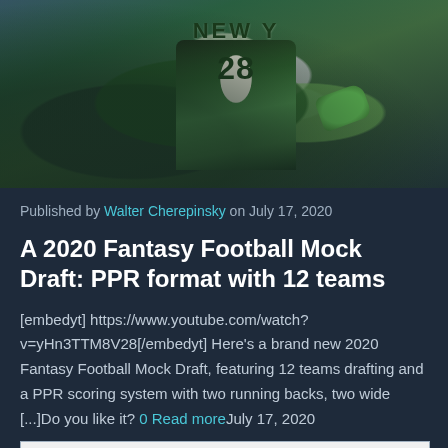[Figure (photo): Football player wearing a New York Jets white jersey running with the ball, action shot]
Published by Walter Cherepinsky on July 17, 2020
A 2020 Fantasy Football Mock Draft: PPR format with 12 teams
[embedyt] https://www.youtube.com/watch?v=yHn3TTM8V28[/embedyt] Here's a brand new 2020 Fantasy Football Mock Draft, featuring 12 teams drafting and a PPR scoring system with two running backs, two wide [...]Do you like it? 0 Read moreJuly 17, 2020
[Figure (other): Broken image placeholder bar]